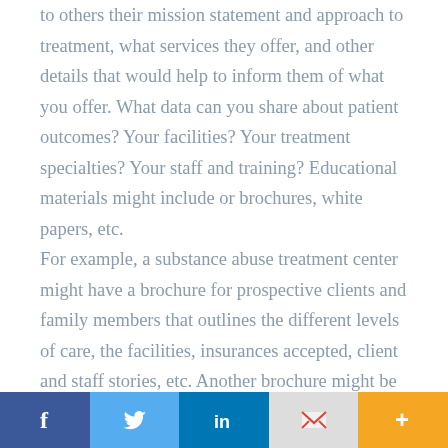to others their mission statement and approach to treatment, what services they offer, and other details that would help to inform them of what you offer. What data can you share about patient outcomes? Your facilities? Your treatment specialties? Your staff and training? Educational materials might include or brochures, white papers, etc.

For example, a substance abuse treatment center might have a brochure for prospective clients and family members that outlines the different levels of care, the facilities, insurances accepted, client and staff stories, etc. Another brochure might be geared towards therapists,
[Figure (infographic): Social sharing bar with five buttons: Facebook (dark blue, f), Twitter (light blue, bird icon), LinkedIn (medium blue, in), Gmail/Google (light gray, M logo in red), and a plus/more button (orange, +)]